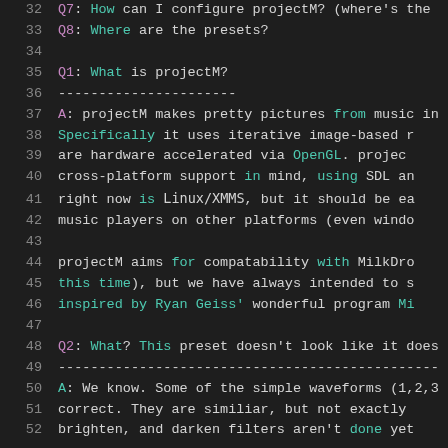32  Q7: How can I configure projectM? (where's the
33  Q8: Where are the presets?
34
35  Q1: What is projectM?
36  ----------------------
37  A: projectM makes pretty pictures from music in
38      Specifically it uses iterative image-based r
39      are hardware accelerated via OpenGL.  projec
40      cross-platform support in mind, using SDL an
41      right now is Linux/XMMS, but it should be ea
42      music players on other platforms (even windo
43
44      projectM aims for compatability with MilkDro
45      this time), but we have always intended to s
46      inspired by Ryan Geiss' wonderful program Mi
47
48  Q2: What? This preset doesn't look like it does
49  -----------------------------------------------
50  A: We know. Some of the simple waveforms (1,2,3
51      correct. They are similiar, but not exactly
52      brighten, and darken filters aren't done yet